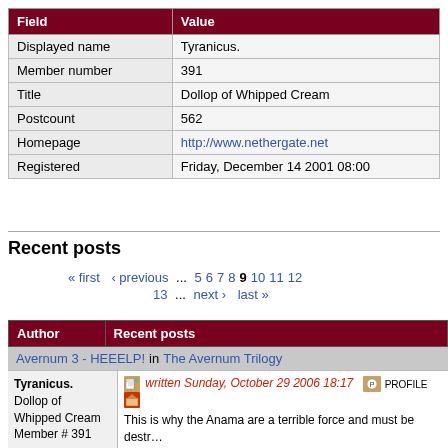| Field | Value |
| --- | --- |
| Displayed name | Tyranicus. |
| Member number | 391 |
| Title | Dollop of Whipped Cream |
| Postcount | 562 |
| Homepage | http://www.nethergate.net |
| Registered | Friday, December 14 2001 08:00 |
Recent posts
« first ‹ previous … 5 6 7 8 9 10 11 12 13 … next › last »
| Author | Recent posts |
| --- | --- |
| Avernum 3 - HEEELP! in The Avernum Trilogy |  |
| Tyranicus.
Dollop of Whipped Cream
Member # 391 | written Sunday, October 29 2006 18:17
This is why the Anama are a terrible force and must be destr...
--------------------
"Tyranicus is about the only one that still posts in the Netherg...
Randomizer
Spiderweb Chat Room
Shadow Vale - My site, home of the Spiderweb Chat Databa...
Database of the 41 Spiderblade over the thing... |